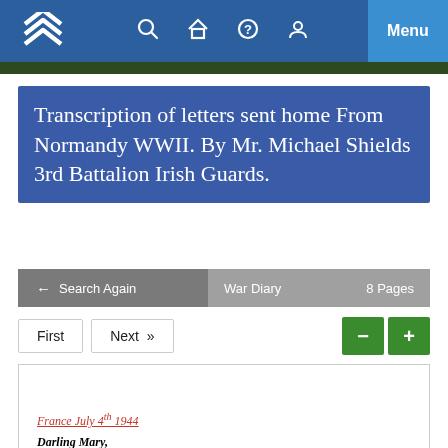Navigation bar with logo, search, home, help, account icons, and Menu button
Transcription of letters sent home From Normandy WWII. By Mr. Michael Shields 3rd Battalion Irish Guards.
← Search Again    War Diary    8 Pages
First   Next »   − +
France July 4th 1944
Darling Mary,
Just been told we have to take up position in front of Capriceaux Aerodrome. It is held by